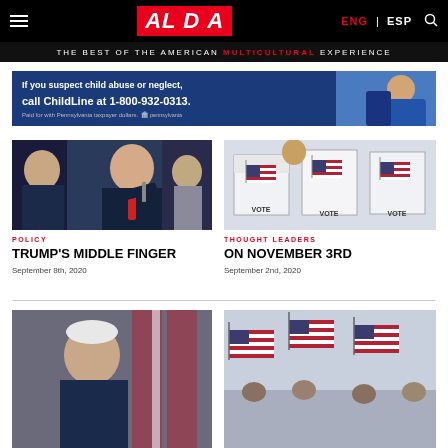AL DÍA | THE BEST OF THE AMERICAN MULTICULTURAL EXPERIENCE | ENG | ESP
[Figure (other): Advertisement banner: If you suspect child abuse or neglect, call ChildLine at 1-800-932-0313. Paid for with Pennsylvania taxpayer dollars.]
[Figure (photo): Photo of Donald Trump pointing during a press briefing]
POLICY
TRUMP'S MIDDLE FINGER
September 8th, 2020
[Figure (photo): Photo of voting booths with VOTE signs and American flags]
THOUGHT LEADERS
ON NOVEMBER 3RD
September 2nd, 2020
[Figure (photo): Photo of Joe Biden (partial, bottom of page)]
[Figure (photo): Photo of American flags at an event (partial, bottom of page)]